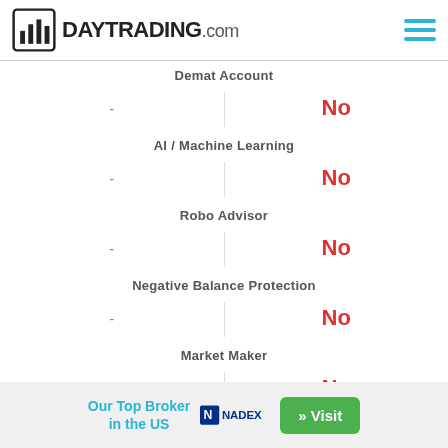DAYTRADING.com
|  |  |
| --- | --- |
| Demat Account |  |
| - | No |
| AI / Machine Learning |  |
| - | No |
| Robo Advisor |  |
| - | No |
| Negative Balance Protection |  |
| - | No |
| Market Maker |  |
| - | No |
| P2P Trading |  |
| - | No |
Our Top Broker in the US  NADEX  » Visit